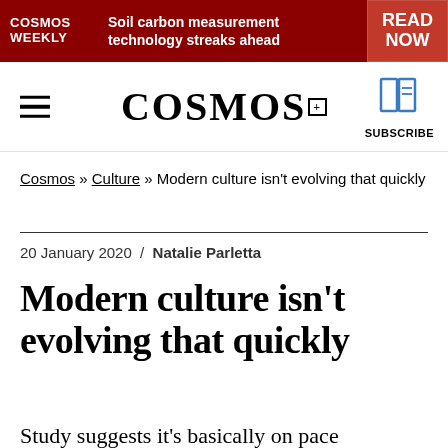COSMOS WEEKLY | Soil carbon measurement technology streaks ahead | READ NOW
[Figure (logo): COSMOS Magazine logo with hamburger menu and subscribe book icon]
Cosmos » Culture » Modern culture isn't evolving that quickly
20 January 2020  /  Natalie Parletta
Modern culture isn't evolving that quickly
Study suggests it's basically on pace